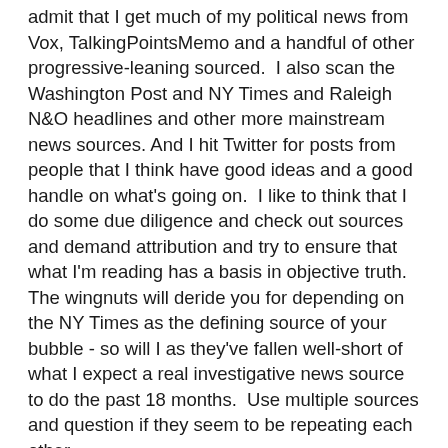admit that I get much of my political news from Vox, TalkingPointsMemo and a handful of other progressive-leaning sourced.  I also scan the Washington Post and NY Times and Raleigh N&O headlines and other more mainstream news sources. And I hit Twitter for posts from people that I think have good ideas and a good handle on what's going on.  I like to think that I do some due diligence and check out sources and demand attribution and try to ensure that what I'm reading has a basis in objective truth.  The wingnuts will deride you for depending on the NY Times as the defining source of your bubble - so will I as they've fallen well-short of what I expect a real investigative news source to do the past 18 months.  Use multiple sources and question if they seem to be repeating each other.

I have friends though that get their information from Breitbart and Fox News and Hannity and Laura Ingraham and I just smh.  I do read the stuff they post from time to time and it creates a fictional reality where elections are stolen from them and the only racism is reverse racism and Hillary killed Vince Foster and and and and I just can't read anymore.  The point being, I guess, that there are echo chambers and